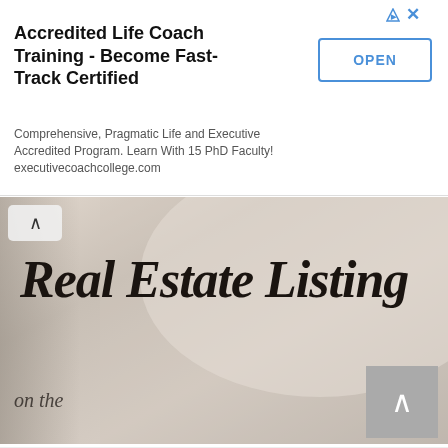[Figure (screenshot): Advertisement banner for Accredited Life Coach Training with OPEN button and close/ad icons in top right]
Accredited Life Coach Training - Become Fast-Track Certified
Comprehensive, Pragmatic Life and Executive Accredited Program. Learn With 15 PhD Faculty! executivecoachcollege.com
[Figure (photo): Sepia-toned photo of a Real Estate Listing document with italic serif text reading 'Real Estate Listing' and partial text 'on the']
Waterfront Senior Living - Ginger Cove - Annapolis, MD
Ad  gingercove.com